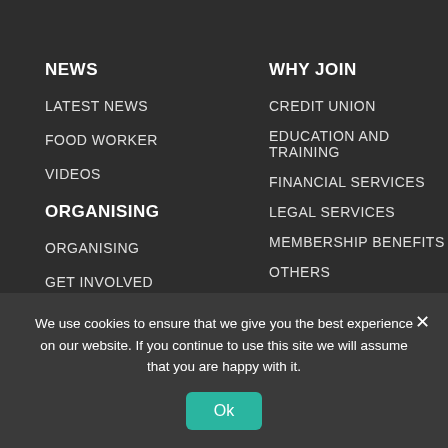NEWS
LATEST NEWS
FOOD WORKER
VIDEOS
ORGANISING
ORGANISING
GET INVOLVED
EVENTS
PEOPLE POWERED
WHY JOIN
CREDIT UNION
EDUCATION AND TRAINING
FINANCIAL SERVICES
LEGAL SERVICES
MEMBERSHIP BENEFITS
OTHERS
WORKPLACE REPRESENTATION
We use cookies to ensure that we give you the best experience on our website. If you continue to use this site we will assume that you are happy with it.